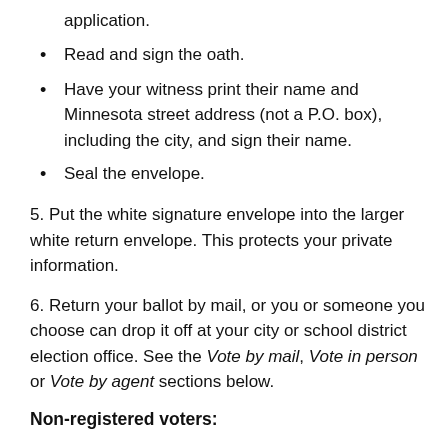application.
Read and sign the oath.
Have your witness print their name and Minnesota street address (not a P.O. box), including the city, and sign their name.
Seal the envelope.
5. Put the white signature envelope into the larger white return envelope. This protects your private information.
6. Return your ballot by mail, or you or someone you choose can drop it off at your city or school district election office. See the Vote by mail, Vote in person or Vote by agent sections below.
Non-registered voters:
1. Fill out the voter registration application and sign it.